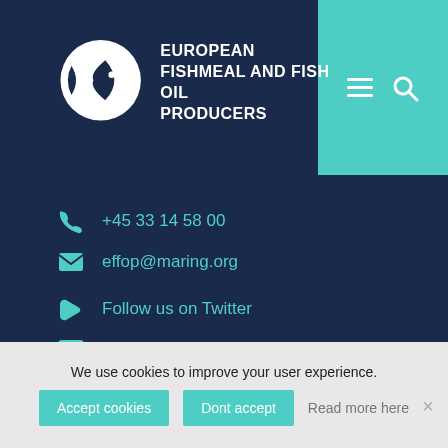[Figure (logo): European Fishmeal and Fish Oil Producers logo — white fish icon and bold white text on dark navy background]
+45 33 14 58 00
effop@maring.org
Follow us on Twitter
Follow us on LinkedIn
Contact
Links
Privacy Policy
We use cookies to improve your user experience.
Accept cookies | Dont accept | Read more here